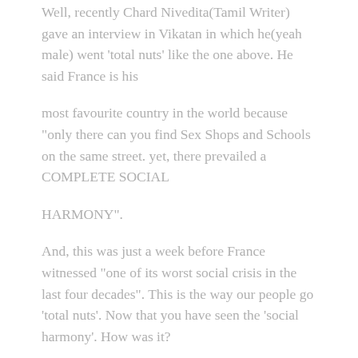Well, recently Chard Nivedita(Tamil Writer) gave an interview in Vikatan in which he(yeah male) went 'total nuts' like the one above. He said France is his
most favourite country in the world because "only there can you find Sex Shops and Schools on the same street. yet, there prevailed a COMPLETE SOCIAL
HARMONY".
And, this was just a week before France witnessed "one of its worst social crisis in the last four decades". This is the way our people go 'total nuts'. Now that you have seen the 'social harmony'. How was it?
Again, what is possibly the reason for the US courts to approve 'Affirmative action' inspite of being a " land of opprtunity", as de Toquivelle put it,for